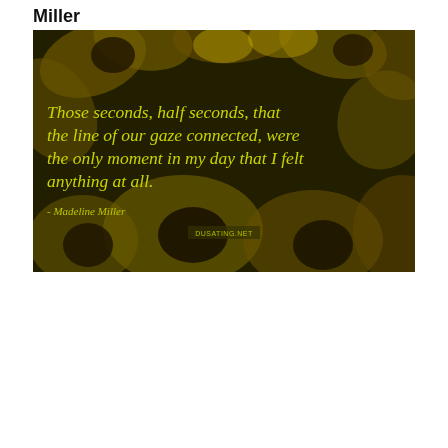Miller
[Figure (illustration): A darkened background of yellow sunflowers with a quote in yellow-green italic text: 'Those seconds, half seconds, that the line of our gaze connected, were the only moment in my day that I felt anything at all.' Attribution: '- Madeline Miller'. A small watermark/logo is visible at the bottom center.]